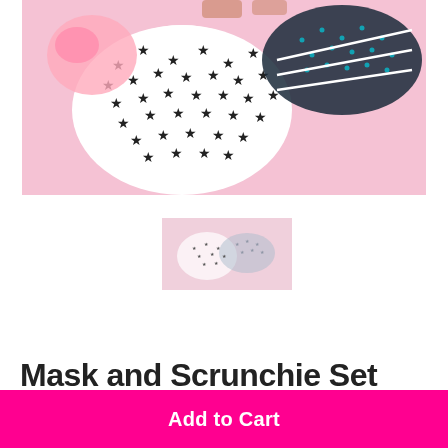[Figure (photo): Product photo showing fabric face masks with black star pattern on white background and dark teal/galaxy print, laid flat on a pink background with white elastic ear loops]
[Figure (photo): Thumbnail product photo showing multiple face masks with star patterns arranged on a pink background, smaller view]
Mask and Scrunchie Set
Add to Cart